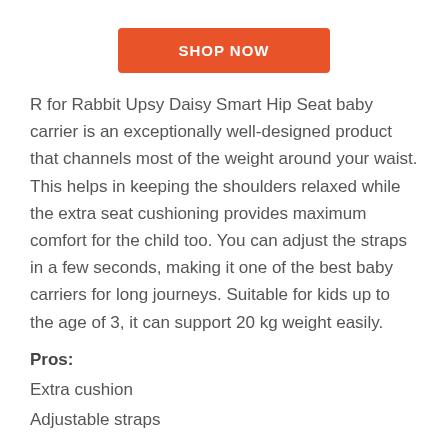[Figure (other): Orange 'SHOP NOW' button]
R for Rabbit Upsy Daisy Smart Hip Seat baby carrier is an exceptionally well-designed product that channels most of the weight around your waist. This helps in keeping the shoulders relaxed while the extra seat cushioning provides maximum comfort for the child too. You can adjust the straps in a few seconds, making it one of the best baby carriers for long journeys. Suitable for kids up to the age of 3, it can support 20 kg weight easily.
Pros:
Extra cushion
Adjustable straps